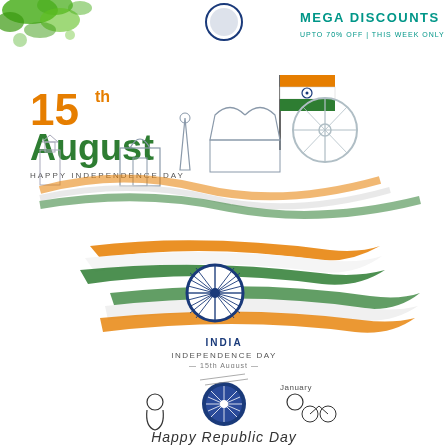[Figure (illustration): Top banner with green ink splatter on left, blue circular logo in center top, and 'MEGA DISCOUNTS UPTO 70% OFF | THIS WEEK ONLY' text in teal/green on right]
[Figure (illustration): 15th August Happy Independence Day graphic with Indian monuments silhouette (Gateway of India, Taj Mahal, Qutub Minar) in blue-grey, Indian flag on pole, Ashoka Chakra, and tricolor (saffron-white-green) wave ribbons]
[Figure (illustration): India Independence Day 15th August graphic with tricolor Indian flag brush strokes (saffron, white, green) with Ashoka Chakra wheel in center, text 'INDIA INDEPENDENCE DAY 15th August' below]
[Figure (illustration): Happy Republic Day illustration with pencil sketch style, January 26 date, Ashoka Chakra coin in center, decorative elements of figures and bicycle, text 'Happy Republic Day' at bottom]